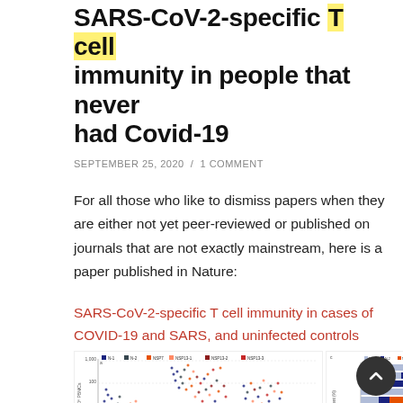SARS-CoV-2-specific T cell immunity in people that never had Covid-19
SEPTEMBER 25, 2020 / 1 COMMENT
For all those who like to dismiss papers when they are either not yet peer-reviewed or published on journals that are not exactly mainstream, here is a paper published in Nature:
SARS-CoV-2-specific T cell immunity in cases of COVID-19 and SARS, and uninfected controls
[Figure (scatter-plot): Scatter plot showing IFN-γ ELISPOT PBMCs data for Unexposed, COVID-19, and SARS groups across N-1, N-2, NSP7, NSP13-1, NSP13-2, NSP13-3 categories]
[Figure (stacked-bar-chart): Stacked horizontal bar chart showing Percentage of total IFNg SFU/10^6 PBMCs for multiple groups (N-1, N-2, NSP7, NSP13-1, NSP13-2, NSP13-3) with bars for Unexposed, COVID-19, and SARS conditions]